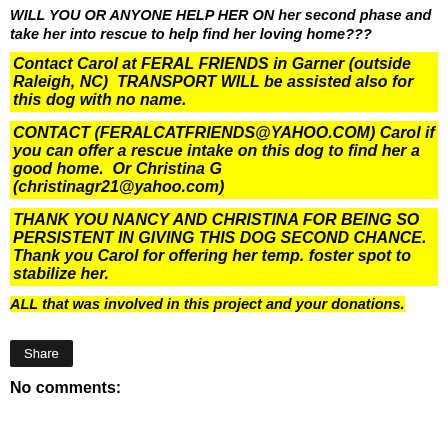WILL YOU OR ANYONE HELP HER ON her second phase and take her into rescue to help find her loving home???
Contact Carol at FERAL FRIENDS in Garner (outside Raleigh, NC)  TRANSPORT WILL be assisted also for this dog with no name.
CONTACT (FERALCATFRIENDS@YAHOO.COM) Carol if you can offer a rescue intake on this dog to find her a good home.  Or Christina G (christinagr21@yahoo.com)
THANK YOU NANCY AND CHRISTINA FOR BEING SO PERSISTENT IN GIVING THIS DOG SECOND CHANCE. Thank you Carol for offering her temp. foster spot to stabilize her.
ALL that was involved in this project and your donations.
Share
No comments: